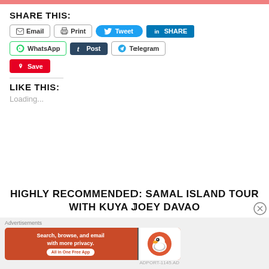SHARE THIS:
Email | Print | Tweet | SHARE | WhatsApp | Post | Telegram | Save
LIKE THIS:
Loading...
HIGHLY RECOMMENDED: SAMAL ISLAND TOUR WITH KUYA JOEY DAVAO
Advertisements
[Figure (screenshot): DuckDuckGo advertisement banner: Search, browse, and email with more privacy. All in One Free App.]